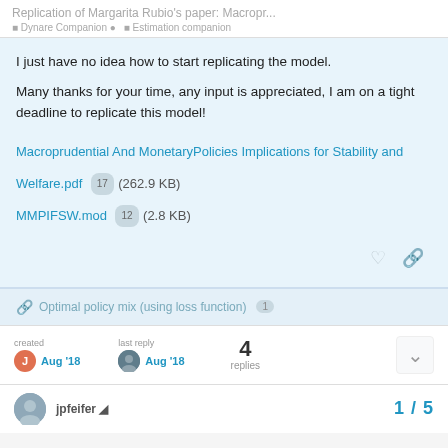Replication of Margarita Rubio's paper: Macropr...
I just have no idea how to start replicating the model.
Many thanks for your time, any input is appreciated, I am on a tight deadline to replicate this model!
Macroprudential And MonetaryPolicies Implications for Stability and Welfare.pdf  17  (262.9 KB)
MMPIFSW.mod  12  (2.8 KB)
Optimal policy mix (using loss function)  1
created  Aug '18   last reply  Aug '18   4  replies
jpfeifer